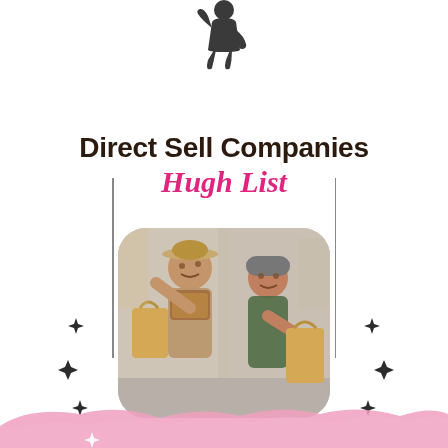[Figure (illustration): Small dark silhouette of a person (shopping figure) at the top center of the page]
Direct Sell Companies Hugh List
[Figure (photo): Two smiling young women holding shopping bags on a city street, photo with rounded corners]